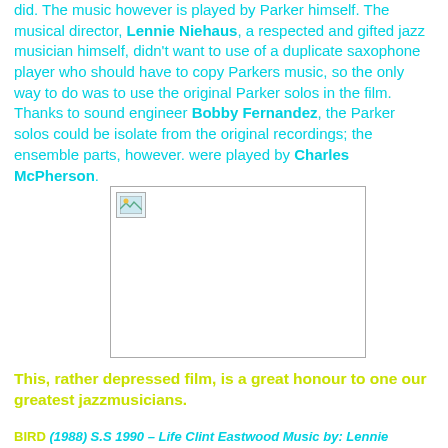did. The music however is played by Parker himself. The musical director, Lennie Niehaus, a respected and gifted jazz musician himself, didn't want to use of a duplicate saxophone player who should have to copy Parkers music, so the only way to do was to use the original Parker solos in the film. Thanks to sound engineer Bobby Fernandez, the Parker solos could be isolate from the original recordings; the ensemble parts, however. were played by Charles McPherson.
[Figure (photo): A placeholder image box with a broken image icon in the top-left corner]
This, rather depressed film, is a great honour to one our greatest jazzmusicians.
BIRD (1988) S.S 1990 – Life Clint Eastwood Music by: Lennie Niehaus